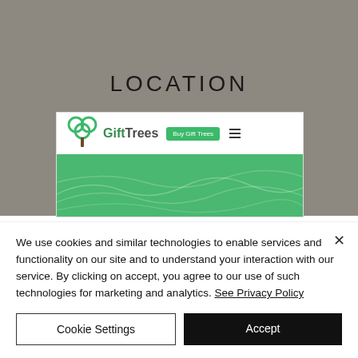[Figure (screenshot): Website screenshot of GiftTrees showing logo with three green circles and a brown tree trunk, brand name 'GiftTrees', a green 'Buy Gift' button, hamburger menu icon, and a green topographic banner below the navigation bar. Above the screenshot is a gray background area with 'LOCATION' text centered.]
We use cookies and similar technologies to enable services and functionality on our site and to understand your interaction with our service. By clicking on accept, you agree to our use of such technologies for marketing and analytics. See Privacy Policy
Cookie Settings
Accept